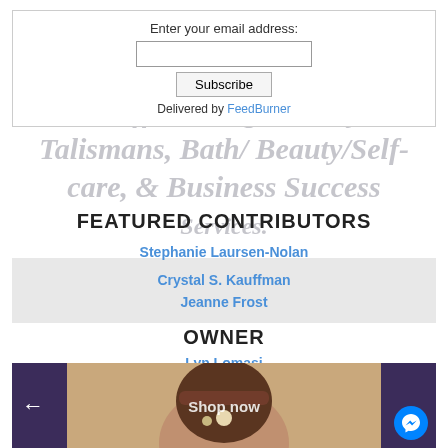Enter your email address:
Subscribe
Delivered by FeedBurner
Enter HEAL888 at checkout for 50% off Healing Jewelry & Talismans, Bath/ Beauty/Self-care, & Business Success Services.
FEATURED CONTRIBUTORS
Stephanie Laursen-Nolan
Crystal S. Kauffman
Jeanne Frost
OWNER
Lyn Lomasi
[Figure (photo): Photo of a person wearing a decorative crocheted headband, with dark panels on either side and a messenger chat icon overlay.]